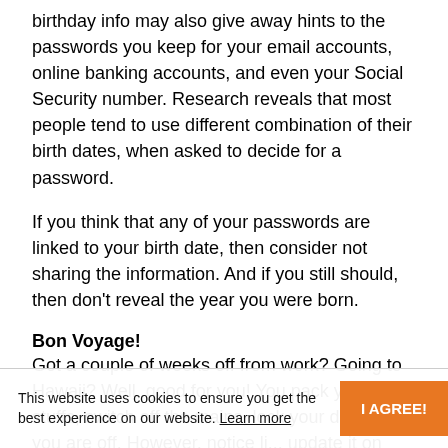birthday info may also give away hints to the passwords you keep for your email accounts, online banking accounts, and even your Social Security number. Research reveals that most people tend to use different combination of their birth dates, when asked to decide for a password.
If you think that any of your passwords are linked to your birth date, then consider not sharing the information. And if you still should, then don't reveal the year you were born.
Bon Voyage!
Got a couple of weeks off from work? Going to Hawaii? Well, good for you! You pack your stuffs, switch off the mains, lock your door, and you are off. However, notice li... update it on your vacation status on Facebook right... Well you know what, try to live with that feeling! If
This website uses cookies to ensure you get the best experience on our website. Learn more